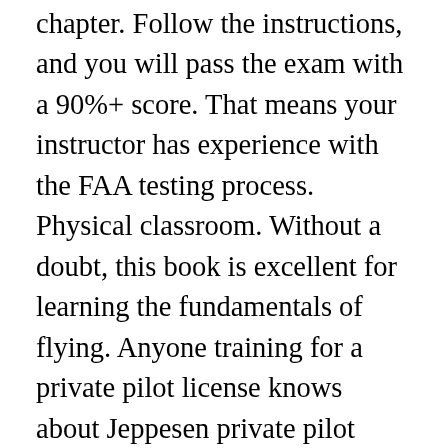chapter. Follow the instructions, and you will pass the exam with a 90%+ score. That means your instructor has experience with the FAA testing process. Physical classroom. Without a doubt, this book is excellent for learning the fundamentals of flying. Anyone training for a private pilot license knows about Jeppesen private pilot manual. Questions? This eLearning course with Rod Machado's PPL handbook and Dauntless Aviation test prep is a powerful combination to pass the FAA knowledge test with ease. Two best options to test your aeronautical knowledge are: Dauntless Aviation test preparation software; Gleimâ s Private Pilot Test Prep. With only a few weeks self study I was able to score a 97 on the FAA